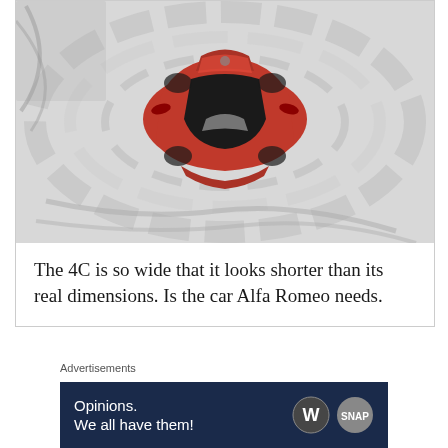[Figure (photo): Top-down aerial view of a red Alfa Romeo 4C sports car on a black and white swirling tire track background]
The 4C is so wide that it looks shorter than its real dimensions. Is the car Alfa Romeo needs.
Advertisements
[Figure (screenshot): WordPress and other logo advertisement banner with text: Opinions. We all have them!]